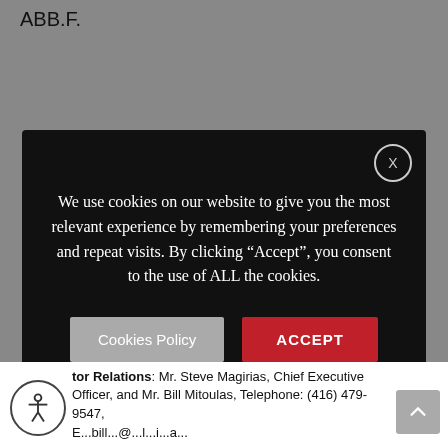ABB.F.
[Figure (screenshot): Cookie consent modal dialog on dark background with close (X) button, cookie usage message, 'Cookies Policy', 'ACCEPT', and 'Cookie Settings' buttons.]
We use cookies on our website to give you the most relevant experience by remembering your preferences and repeat visits. By clicking “Accept”, you consent to the use of ALL the cookies.
Cookies Policy
ACCEPT
Cookie Settings
tor Relations: Mr. Steve Magirias, Chief Executive Officer, and Mr. Bill Mitoulas, Telephone: (416) 479-9547, E...bill...@...l...i...a...r...s...